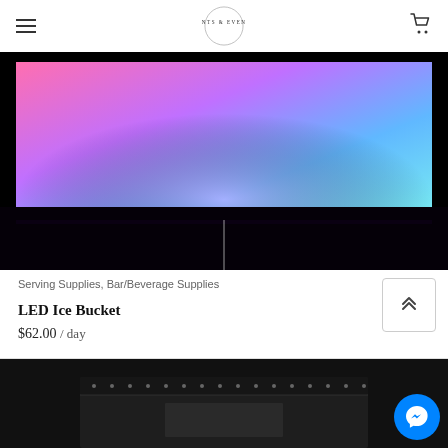TENTS & EVENTS
[Figure (photo): LED Ice Bucket product photo showing colorful pink, purple, and blue LED lighting gradient against a black background]
Serving Supplies, Bar/Beverage Supplies
LED Ice Bucket
$62.00 / day
[Figure (photo): Partial view of a dark bar unit with dots/studs visible along the top edge]